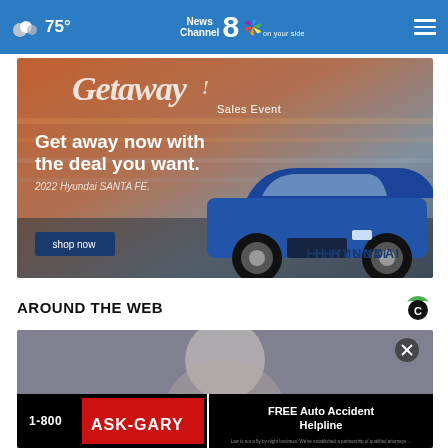75° News Channel 8 on your side
[Figure (photo): Hyundai Getaway Sales Event advertisement: '2022 Hyundai SANTA FE. Get away now with the deal you want.' with shop now button and blue SUV]
AROUND THE WEB
[Figure (photo): Article thumbnail image showing a person, partially obscured by 1-800-ASK-GARY advertisement banner. Close button visible. Ad reads: 1-800 ASK-GARY FREE Auto Accident Helpline]